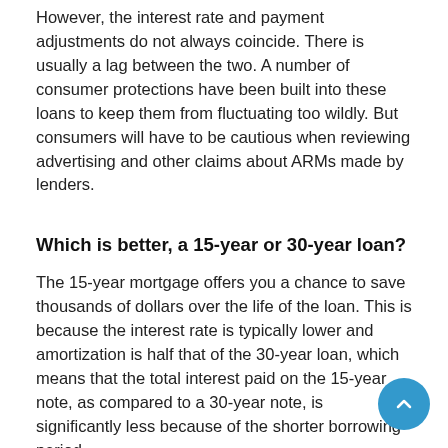However, the interest rate and payment adjustments do not always coincide. There is usually a lag between the two. A number of consumer protections have been built into these loans to keep them from fluctuating too wildly. But consumers will have to be cautious when reviewing advertising and other claims about ARMs made by lenders.
Which is better, a 15-year or 30-year loan?
The 15-year mortgage offers you a chance to save thousands of dollars over the life of the loan. This is because the interest rate is typically lower and amortization is half that of the 30-year loan, which means that the total interest paid on the 15-year note, as compared to a 30-year note, is significantly less because of the shorter borrowing period.
Put another way, a 15-year loan accrues principal much more quickly than a 30-year loan, so you get to...